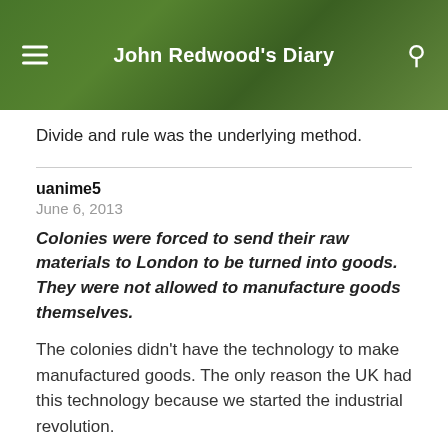John Redwood's Diary
Divide and rule was the underlying method.
uanime5
June 6, 2013
Colonies were forced to send their raw materials to London to be turned into goods. They were not allowed to manufacture goods themselves.
The colonies didn't have the technology to make manufactured goods. The only reason the UK had this technology because we started the industrial revolution.
This caused the free market to stop functioning and goods